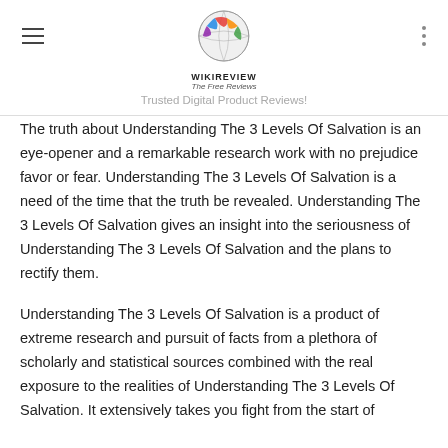WIKIREVIEW The Free Reviews — Trusted Digital Product Reviews!
The truth about Understanding The 3 Levels Of Salvation is an eye-opener and a remarkable research work with no prejudice favor or fear. Understanding The 3 Levels Of Salvation is a need of the time that the truth be revealed. Understanding The 3 Levels Of Salvation gives an insight into the seriousness of Understanding The 3 Levels Of Salvation and the plans to rectify them.
Understanding The 3 Levels Of Salvation is a product of extreme research and pursuit of facts from a plethora of scholarly and statistical sources combined with the real exposure to the realities of Understanding The 3 Levels Of Salvation. It extensively takes you fight from the start of